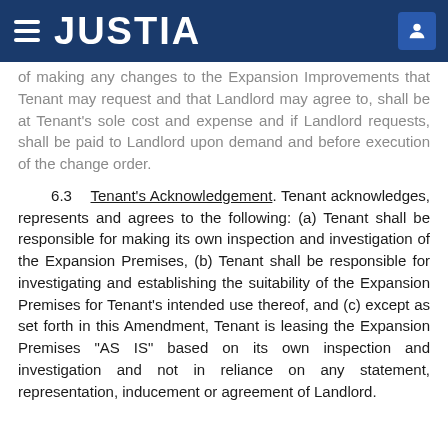JUSTIA
of making any changes to the Expansion Improvements that Tenant may request and that Landlord may agree to, shall be at Tenant’s sole cost and expense and if Landlord requests, shall be paid to Landlord upon demand and before execution of the change order.
6.3 Tenant’s Acknowledgement. Tenant acknowledges, represents and agrees to the following: (a) Tenant shall be responsible for making its own inspection and investigation of the Expansion Premises, (b) Tenant shall be responsible for investigating and establishing the suitability of the Expansion Premises for Tenant’s intended use thereof, and (c) except as set forth in this Amendment, Tenant is leasing the Expansion Premises “AS IS” based on its own inspection and investigation and not in reliance on any statement, representation, inducement or agreement of Landlord.